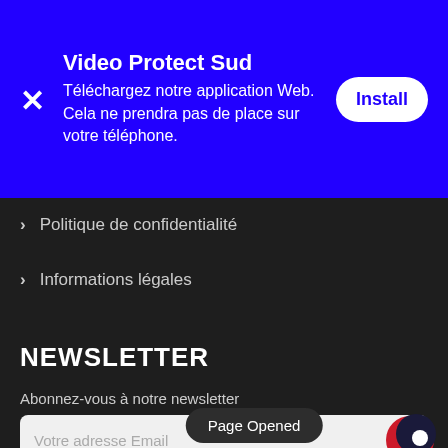[Figure (screenshot): Blue PWA install banner with close X button, app title 'Video Protect Sud', description text, and Install button]
Video Protect Sud
Téléchargez notre application Web. Cela ne prendra pas de place sur votre téléphone.
Politique de confidentialité
Informations légales
NEWSLETTER
Abonnez-vous à notre newsletter
Votre adresse Email
Page Opened